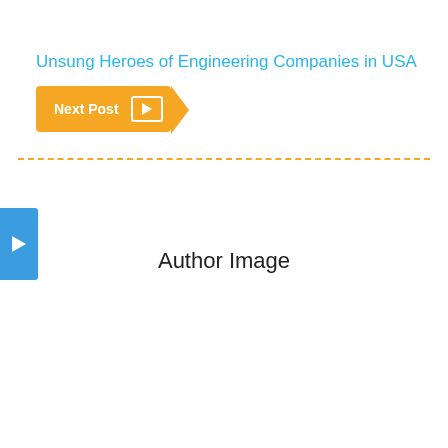Unsung Heroes of Engineering Companies in USA
Next Post →
[Figure (illustration): Author Image placeholder area with blue sidebar arrow and author image label]
Author Image